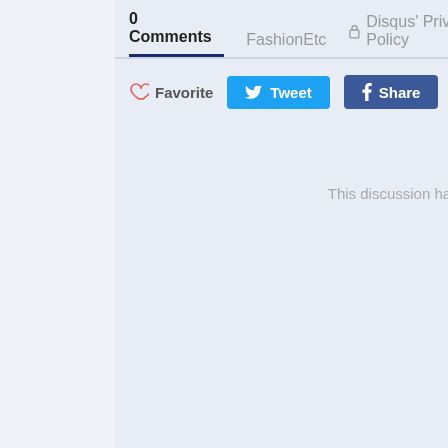0 Comments   FashionEtc   Disqus' Privacy Policy
Favorite   Tweet   Share
This discussion has been clos
Subscribe   Add Disqus to your site   Do Not Sell My D